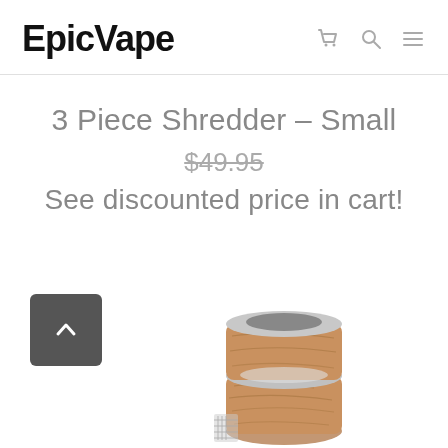EpicVape
3 Piece Shredder – Small
$49.95 (strikethrough)
See discounted price in cart!
[Figure (photo): Photo of a wooden 3-piece shredder grinder with metal components, shown from above at an angle. A scroll-up button (dark gray rounded square with an upward chevron) is visible to the left of the product.]